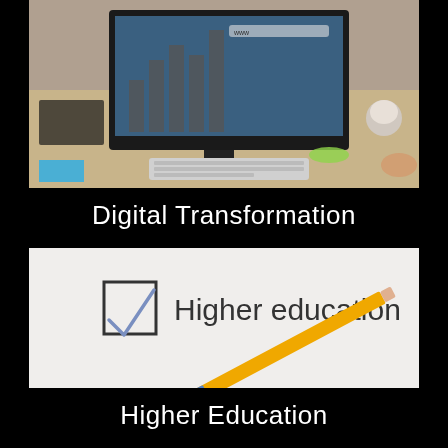[Figure (photo): A desktop computer monitor displaying charts and a website, with a keyboard, notebook, coffee cup, and green items visible on a wooden desk — representing digital transformation.]
Digital Transformation
[Figure (photo): A close-up of a paper with a checkbox that has a blue checkmark drawn in it, labeled 'Higher education', with a yellow and blue pencil resting diagonally across the paper.]
Higher Education